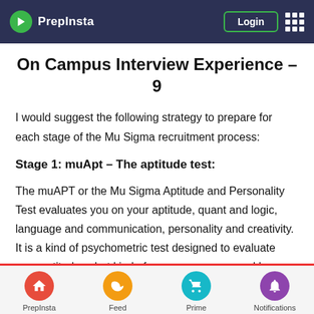PrepInsta | Login
On Campus Interview Experience – 9
I would suggest the following strategy to prepare for each stage of the Mu Sigma recruitment process:
Stage 1: muApt – The aptitude test:
The muAPT or the Mu Sigma Aptitude and Personality Test evaluates you on your aptitude, quant and logic, language and communication, personality and creativity. It is a kind of psychometric test designed to evaluate your aptitude, what kind of a person you are and how you would react in
PrepInsta | Feed | Prime | Notifications